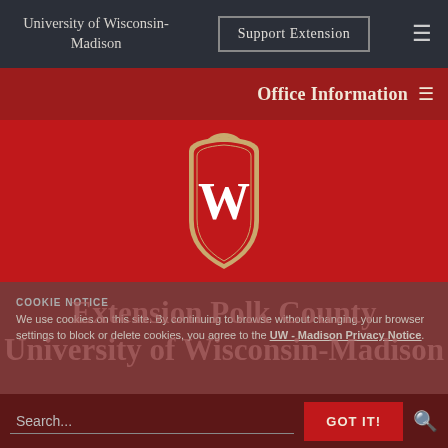University of Wisconsin-Madison
Support Extension
Office Information
[Figure (logo): University of Wisconsin-Madison W crest logo, red shield with white W, tan/gold ornamental border, on red background]
Extension Polk County
University of Wisconsin-Madison
COOKIE NOTICE
We use cookies on this site. By continuing to browse without changing your browser settings to block or delete cookies, you agree to the UW - Madison Privacy Notice.
Search...
GOT IT!